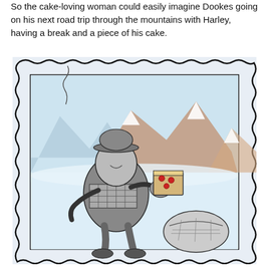So the cake-loving woman could easily imagine Dookes going on his next road trip through the mountains with Harley, having a break and a piece of his cake.
[Figure (illustration): A hand-drawn illustration of a person (Dookes) sitting outdoors in a mountainous snowy scene, wearing a scarf and hat, holding a piece of cake with red dots (berries) on it. A motorbike helmet rests on the ground nearby. The scene is framed by a wavy black border like a postage stamp. Mountains with reddish-brown and blue shading are visible in the background.]